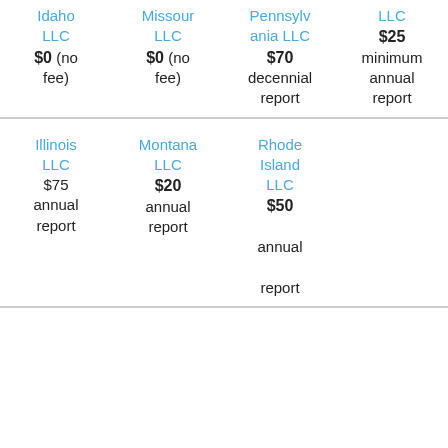| State/Entity | State/Entity | State/Entity | State/Entity |
| --- | --- | --- | --- |
| Idaho LLC
$0 (no fee) | Missouri LLC
$0 (no fee) | Pennsylvania LLC
$70 decennial report | LLC
$25 minimum annual report |
| Illinois LLC
$75 annual report | Montana LLC
$20 annual report | Rhode Island LLC
$50 annual report |  |